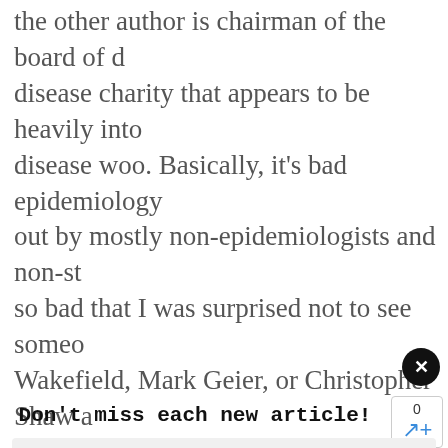the other author is chairman of the board of d disease charity that appears to be heavily into disease woo. Basically, it's bad epidemiology out by mostly non-epidemiologists and non-st so bad that I was surprised not to see someo Wakefield, Mark Geier, or Christopher Shaw a How something this bad could be published b non-Yale faculty listed as affiliated with Yale)
Don't miss each new article!
Email Address
[Figure (other): Close button (black circle with white X) and share widget showing count 0 and share icon]
[Figure (other): Footer banner with rainbow bar and text LOVE CHANGES EVERYTHING / LOVE COMPASSION CHARITY BELONGING on dark background]